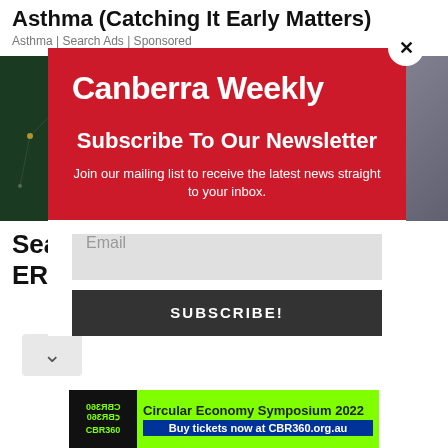Asthma (Catching It Early Matters)
Asthma | Search Ads | Sponsored
[Figure (screenshot): Background image partially obscured by modal — left side shows dark green network/tech background, right side shows warehouse shelving]
Sea
ER
[Figure (infographic): Canberra Weekly newsletter subscription modal on red background. Title: Canberra Weekly. Subheading: Subscribe To Our Newsletter. Body: Join our mailing list to receive the latest news straight to your inbox. Email input field. Subscribe button.]
[Figure (infographic): Green ad banner: CBR360 Circular Economy Symposium 2022. Buy tickets now at CBR360.org.au]